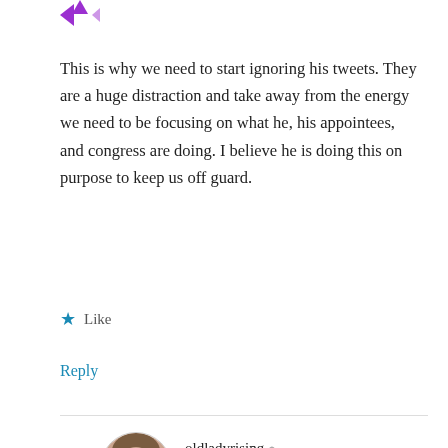[Figure (other): Purple vote/arrow icons at top left]
This is why we need to start ignoring his tweets. They are a huge distraction and take away from the energy we need to be focusing on what he, his appointees, and congress are doing. I believe he is doing this on purpose to keep us off guard.
★ Like
Reply
oldladyrising
NOVEMBER 29, 2016 AT 3:31 PM
[Figure (photo): Circular profile photo of an older woman]
Actually, I don't agree. I think he is tweeting for two reasons: (1) He can't help himself, and mostly